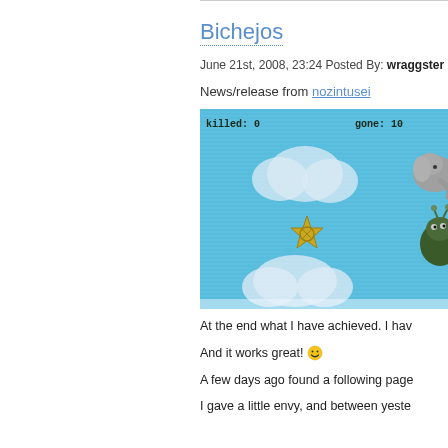Bichejos
June 21st, 2008, 23:24 Posted By: wraggster
News/release from nozintusei
[Figure (screenshot): Game screenshot showing a blue sky with clouds, cartoon animals (elephant, monster), and a gold star/cross icon. HUD shows 'killed: 0' and 'gone: 10'.]
At the end what I have achieved. I hav
And it works great! 🙂
A few days ago found a following page
I gave a little envy, and between yeste